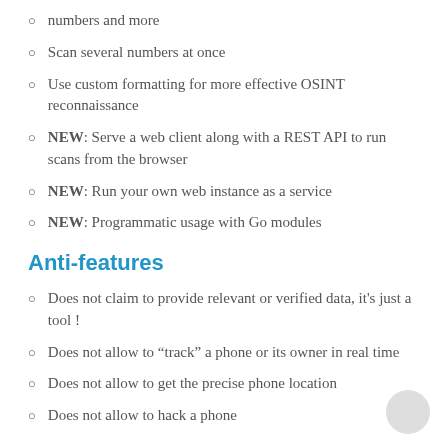numbers and more
Scan several numbers at once
Use custom formatting for more effective OSINT reconnaissance
NEW: Serve a web client along with a REST API to run scans from the browser
NEW: Run your own web instance as a service
NEW: Programmatic usage with Go modules
Anti-features
Does not claim to provide relevant or verified data, it's just a tool !
Does not allow to “track” a phone or its owner in real time
Does not allow to get the precise phone location
Does not allow to hack a phone